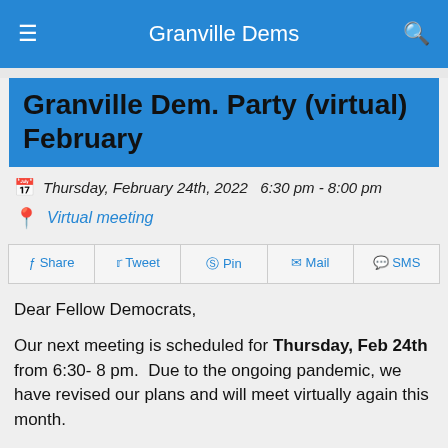Granville Dems
Granville Dem. Party (virtual) February
Thursday, February 24th, 2022   6:30 pm - 8:00 pm
Virtual meeting
Share  Tweet  Pin  Mail  SMS
Dear Fellow Democrats,
Our next meeting is scheduled for Thursday, Feb 24th from 6:30- 8 pm.  Due to the ongoing pandemic, we have revised our plans and will meet virtually again this month.
Here is the agenda:
Recognition of Elected Officials